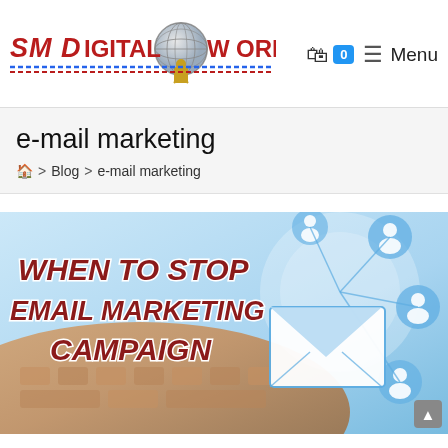[Figure (logo): SM Digital World logo with globe icon and dashed underline]
0  ≡ Menu
e-mail marketing
🏠 > Blog > e-mail marketing
[Figure (photo): Article thumbnail image with text overlay reading WHEN TO STOP EMAIL MARKETING CAMPAIGN, showing hands on keyboard and network/email graphics on blue background]